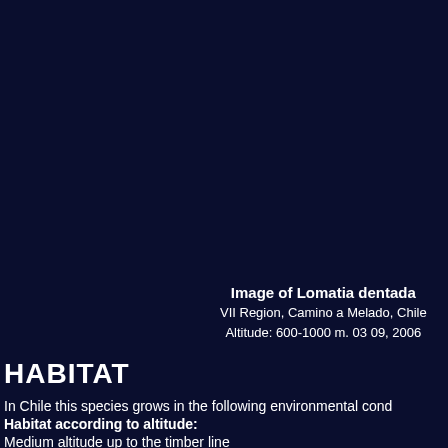Image of Lomatia dentada
VII Region, Camino a Melado, Chile
Altitude: 600-1000 m. 03 09, 2006
HABITAT
In Chile this species grows in the following environmental cond
Habitat according to altitude:
Medium altitude up to the timber line